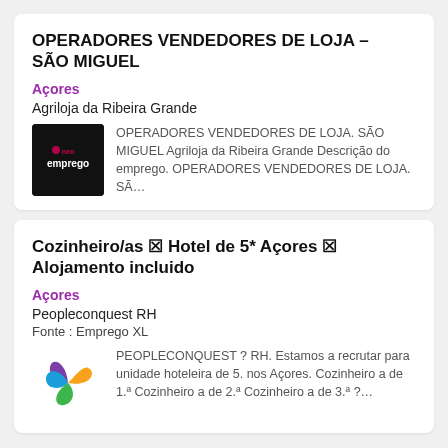OPERADORES VENDEDORES DE LOJA – SÃO MIGUEL
Açores
Agriloja da Ribeira Grande
[Figure (logo): Neo Emprego dark background logo]
OPERADORES VENDEDORES DE LOJA. SÃO MIGUEL Agriloja da Ribeira Grande Descrição do emprego. OPERADORES VENDEDORES DE LOJA. SÃ…
Cozinheiro/as ⬛ Hotel de 5* Açores ⬛ Alojamento incluido
Açores
Peopleconquest RH
Fonte : Emprego XL
[Figure (logo): Peopleconquest RH colorful swirl logo]
PEOPLECONQUEST ? RH. Estamos a recrutar para unidade hoteleira de 5. nos Açores. Cozinheiro a de 1.ª Cozinheiro a de 2.ª Cozinheiro a de 3.ª ?…